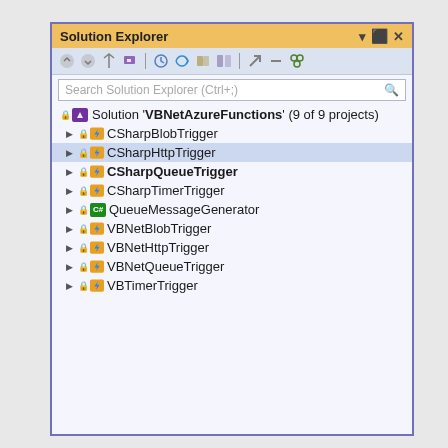[Figure (screenshot): Visual Studio Solution Explorer window showing a solution named 'VBNetAzureFunctions' with 9 projects: CSharpBlobTrigger, CSharpHttpTrigger (selected/highlighted), CSharpQueueTrigger (bold), CSharpTimerTrigger, QueueMessageGenerator, VBNetBlobTrigger, VBNetHttpTrigger, VBNetQueueTrigger, VBTimerTrigger]